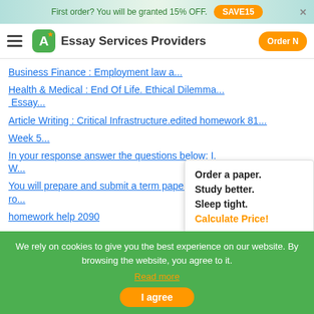First order? You will be granted 15% OFF. SAVE15
Essay Services Providers
Business Finance : Employment law a...
Health & Medical : End Of Life. Ethical Dilemma... Essay...
Article Writing : Critical Infrastructure.edited homework 81...
Week 5...
In your response answer the questions below: I. W...
You will prepare and submit a term paper on Th ro...
homework help 2090
Order a paper. Study better. Sleep tight. Calculate Price!
We rely on cookies to give you the best experience on our website. By browsing the website, you agree to it. Read more
I agree